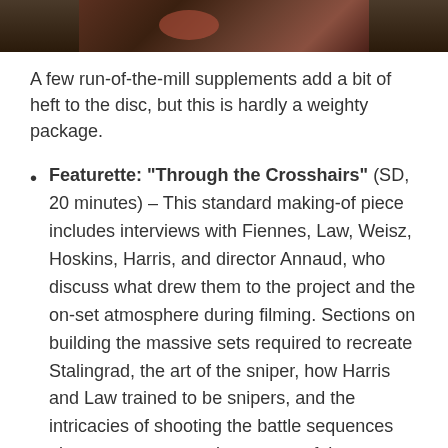[Figure (photo): Partial image at top of page showing a dark-toned scene, appears to be a film still with reddish/brown tones]
A few run-of-the-mill supplements add a bit of heft to the disc, but this is hardly a weighty package.
Featurette: "Through the Crosshairs" (SD, 20 minutes) – This standard making-of piece includes interviews with Fiennes, Law, Weisz, Hoskins, Harris, and director Annaud, who discuss what drew them to the project and the on-set atmosphere during filming. Sections on building the massive sets required to recreate Stalingrad, the art of the sniper, how Harris and Law trained to be snipers, and the intricacies of shooting the battle sequences give us a more complete sense of the production's scope and challenges. A good deal of behind-the-scenes